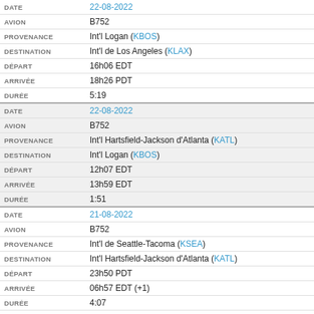| Field | Value |
| --- | --- |
| DATE | 22-08-2022 |
| AVION | B752 |
| PROVENANCE | Int'l Logan (KBOS) |
| DESTINATION | Int'l de Los Angeles (KLAX) |
| DÉPART | 16h06 EDT |
| ARRIVÉE | 18h26 PDT |
| DURÉE | 5:19 |
| DATE | 22-08-2022 |
| AVION | B752 |
| PROVENANCE | Int'l Hartsfield-Jackson d'Atlanta (KATL) |
| DESTINATION | Int'l Logan (KBOS) |
| DÉPART | 12h07 EDT |
| ARRIVÉE | 13h59 EDT |
| DURÉE | 1:51 |
| DATE | 21-08-2022 |
| AVION | B752 |
| PROVENANCE | Int'l de Seattle-Tacoma (KSEA) |
| DESTINATION | Int'l Hartsfield-Jackson d'Atlanta (KATL) |
| DÉPART | 23h50 PDT |
| ARRIVÉE | 06h57 EDT (+1) |
| DURÉE | 4:07 |